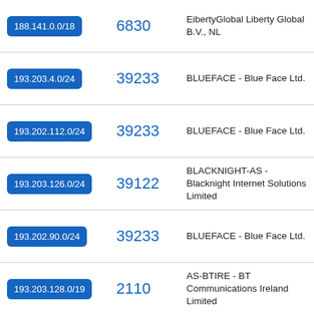| IP Range | ASN | Organization |
| --- | --- | --- |
| 188.141.0.0/18 | 6830 | EibertyGlobal Liberty Global B.V., NL |
| 193.203.4.0/24 | 39233 | BLUEFACE - Blue Face Ltd. |
| 193.202.112.0/24 | 39233 | BLUEFACE - Blue Face Ltd. |
| 193.203.126.0/24 | 39122 | BLACKNIGHT-AS - Blacknight Internet Solutions Limited |
| 193.202.90.0/24 | 39233 | BLUEFACE - Blue Face Ltd. |
| 193.203.128.0/19 | 2110 | AS-BTIRE - BT Communications Ireland Limited |
| 193.222.50.0/24 | 9009 | M247 - M247 Ltd |